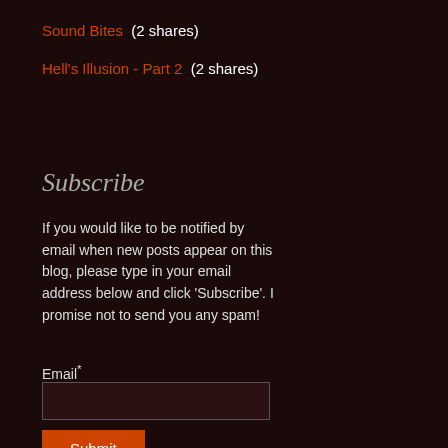Sound Bites  (2 shares)
Hell's Illusion - Part 2  (2 shares)
Subscribe
If you would like to be notified by email when new posts appear on this blog, please type in your email address below and click 'Subscribe'. I promise not to send you any spam!
Email*